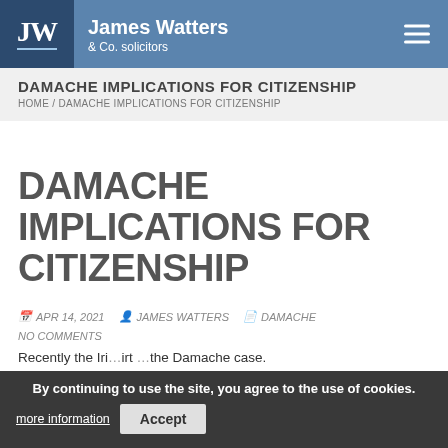James Watters & Co. solicitors
DAMACHE IMPLICATIONS FOR CITIZENSHIP
HOME / DAMACHE IMPLICATIONS FOR CITIZENSHIP
DAMACHE IMPLICATIONS FOR CITIZENSHIP
APR 14, 2021  JAMES WATTERS  DAMACHE
NO COMMENTS
Recently the Irish High Court ruled in the Damache case.
By continuing to use the site, you agree to the use of cookies. more information  Accept